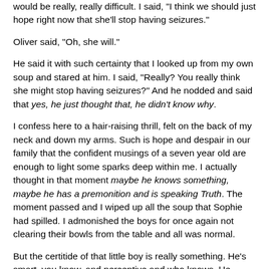would be really, really difficult. I said, "I think we should just hope right now that she'll stop having seizures."
Oliver said, "Oh, she will."
He said it with such certainty that I looked up from my own soup and stared at him. I said, "Really? You really think she might stop having seizures?" And he nodded and said that yes, he just thought that, he didn't know why.
I confess here to a hair-raising thrill, felt on the back of my neck and down my arms. Such is hope and despair in our family that the confident musings of a seven year old are enough to light some sparks deep within me. I actually thought in that moment maybe he knows something, maybe he has a premonition and is speaking Truth. The moment passed and I wiped up all the soup that Sophie had spilled. I admonished the boys for once again not clearing their bowls from the table and all was normal.
But the certitide of that little boy is really something. He's smart, you know, and perceptive and who knows. He might